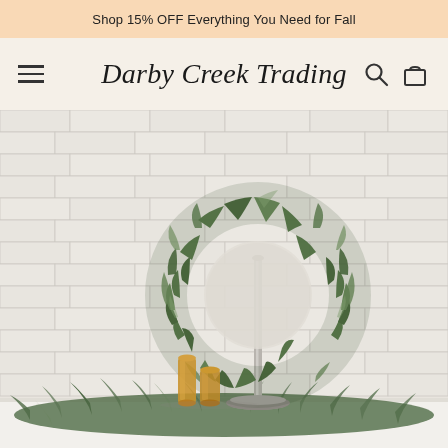Shop 15% OFF Everything You Need for Fall
Darby Creek Trading
[Figure (photo): A decorative green pine/cypress wreath displayed on a silver pedestal stand on a white mantel, accompanied by golden amber glass candle holders and a green garland, against a white brick wall background.]